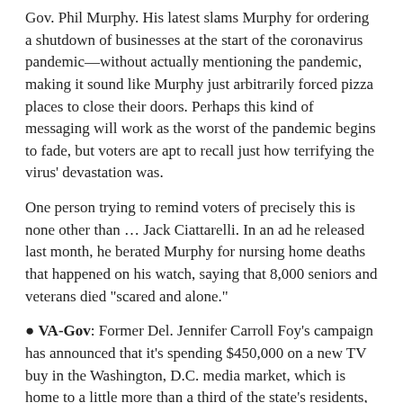Gov. Phil Murphy. His latest slams Murphy for ordering a shutdown of businesses at the start of the coronavirus pandemic—without actually mentioning the pandemic, making it sound like Murphy just arbitrarily forced pizza places to close their doors. Perhaps this kind of messaging will work as the worst of the pandemic begins to fade, but voters are apt to recall just how terrifying the virus' devastation was.
One person trying to remind voters of precisely this is none other than … Jack Ciattarelli. In an ad he released last month, he berated Murphy for nursing home deaths that happened on his watch, saying that 8,000 seniors and veterans died "scared and alone."
VA-Gov: Former Del. Jennifer Carroll Foy's campaign has announced that it's spending $450,000 on a new TV buy in the Washington, D.C. media market, which is home to a little more than a third of the state's residents, ahead of the June 8 Democratic primary.
Carroll Foy also has a new spot where she talks about how, after her grandmother had a stroke, "we were forced to choose between her mortgage and medicine." She continues, "So when my babies were born early, I was grateful to have healthcare that saved their lives and mine." Carroll Foy concludes, "I've been a foster mom, public defender, and delegate who expanded Medicaid. Now, I'm running for